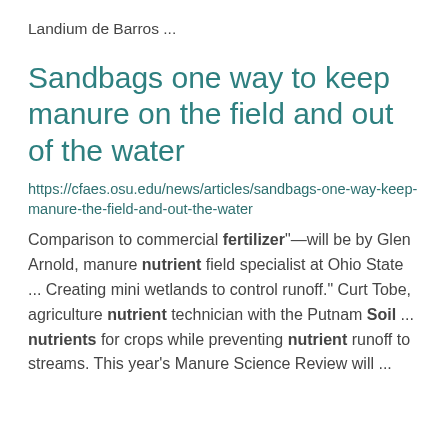Landium de Barros ...
Sandbags one way to keep manure on the field and out of the water
https://cfaes.osu.edu/news/articles/sandbags-one-way-keep-manure-the-field-and-out-the-water
Comparison to commercial fertilizer"—will be by Glen Arnold, manure nutrient field specialist at Ohio State ... Creating mini wetlands to control runoff." Curt Tobe, agriculture nutrient technician with the Putnam Soil ... nutrients for crops while preventing nutrient runoff to streams. This year's Manure Science Review will ...